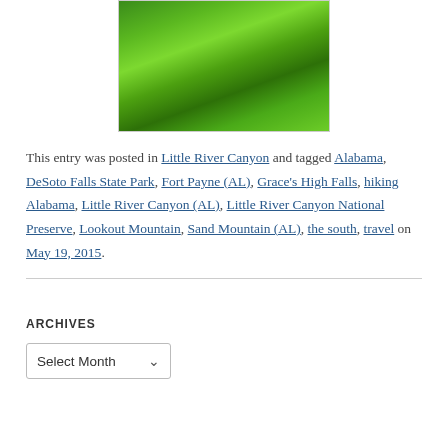[Figure (photo): Aerial or top-down view of lush green forest/tree canopy, likely taken at Little River Canyon area in Alabama.]
This entry was posted in Little River Canyon and tagged Alabama, DeSoto Falls State Park, Fort Payne (AL), Grace's High Falls, hiking Alabama, Little River Canyon (AL), Little River Canyon National Preserve, Lookout Mountain, Sand Mountain (AL), the south, travel on May 19, 2015.
ARCHIVES